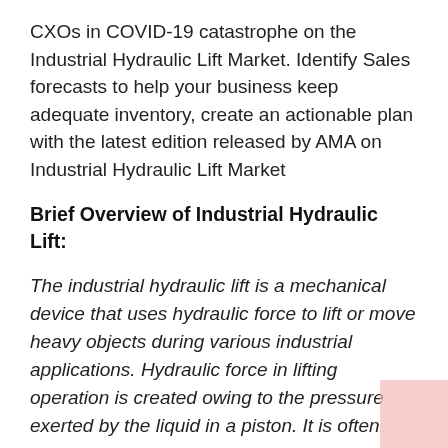CXOs in COVID-19 catastrophe on the Industrial Hydraulic Lift Market. Identify Sales forecasts to help your business keep adequate inventory, create an actionable plan with the latest edition released by AMA on Industrial Hydraulic Lift Market
Brief Overview of Industrial Hydraulic Lift:
The industrial hydraulic lift is a mechanical device that uses hydraulic force to lift or move heavy objects during various industrial applications. Hydraulic force in lifting operation is created owing to the pressure exerted by the liquid in a piston. It is often implemented to operate heavy machinery or to move and lift heavy and large objects like cars, dirt, and